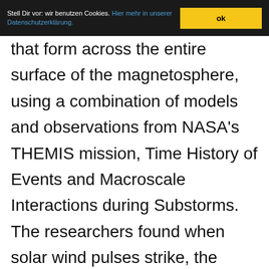Stell Dir vor: wir benutzen Cookies. Hier mehr in unserer Datenschutzerklärung. ok
that form across the entire surface of the magnetosphere, using a combination of models and observations from NASA's THEMIS mission, Time History of Events and Macroscale Interactions during Substorms.

The researchers found when solar wind pulses strike, the waves that form